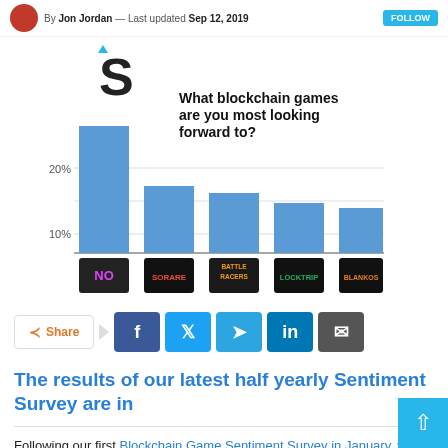By Jon Jordan — Last updated Sep 12, 2019
[Figure (bar-chart): What blockchain games are you most looking forward to?]
Share
The results of our latest half yearly Sentiment Survey are in
Following our first Blockchain Game Sentiment Survey in January, we're back to take the pulse of the